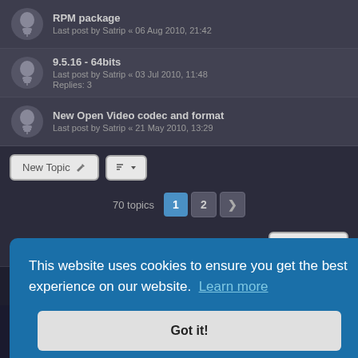RPM package
Last post by Satrip « 06 Aug 2010, 21:42
9.5.16 - 64bits
Last post by Satrip « 03 Jul 2010, 11:48
Replies: 3
New Open Video codec and format
Last post by Satrip « 21 May 2010, 13:29
New Topic  |  Sort  |  70 topics  1  2  >
Jump to
FORUM PERMISSIONS
This website uses cookies to ensure you get the best experience on our website.  Learn more
Got it!
es are UTC